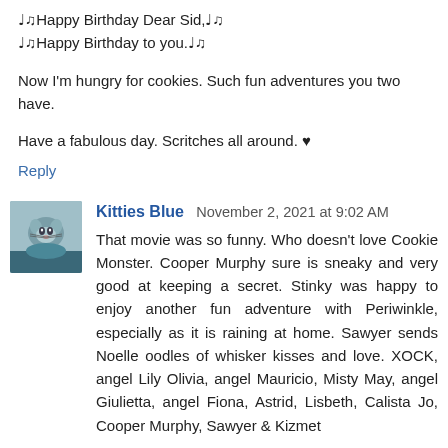♩♫Happy Birthday Dear Sid,♩♫
♩♫Happy Birthday to you.♩♫
Now I'm hungry for cookies. Such fun adventures you two have.
Have a fabulous day. Scritches all around. ♥
Reply
Kitties Blue  November 2, 2021 at 9:02 AM
That movie was so funny. Who doesn't love Cookie Monster. Cooper Murphy sure is sneaky and very good at keeping a secret. Stinky was happy to enjoy another fun adventure with Periwinkle, especially as it is raining at home. Sawyer sends Noelle oodles of whisker kisses and love. XOCK, angel Lily Olivia, angel Mauricio, Misty May, angel Giulietta, angel Fiona, Astrid, Lisbeth, Calista Jo, Cooper Murphy, Sawyer & Kizmet
Reply